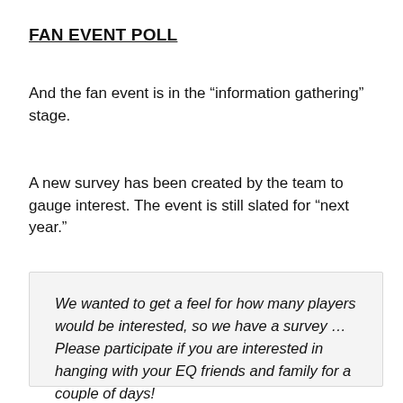FAN EVENT POLL
And the fan event is in the “information gathering” stage.
A new survey has been created by the team to gauge interest. The event is still slated for “next year.”
We wanted to get a feel for how many players would be interested, so we have a survey … Please participate if you are interested in hanging with your EQ friends and family for a couple of days!